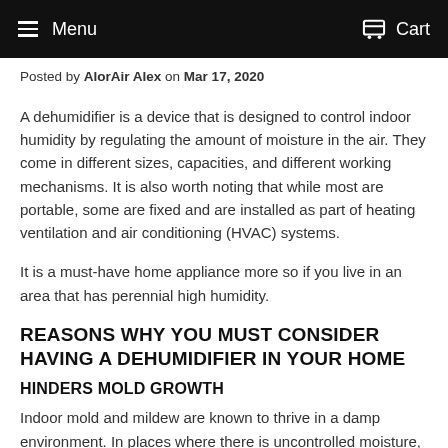Menu  Cart
Posted by AlorAir Alex on Mar 17, 2020
A dehumidifier is a device that is designed to control indoor humidity by regulating the amount of moisture in the air. They come in different sizes, capacities, and different working mechanisms. It is also worth noting that while most are portable, some are fixed and are installed as part of heating ventilation and air conditioning (HVAC) systems.
It is a must-have home appliance more so if you live in an area that has perennial high humidity.
REASONS WHY YOU MUST CONSIDER HAVING A DEHUMIDIFIER IN YOUR HOME
HINDERS MOLD GROWTH
Indoor mold and mildew are known to thrive in a damp environment. In places where there is uncontrolled moisture,